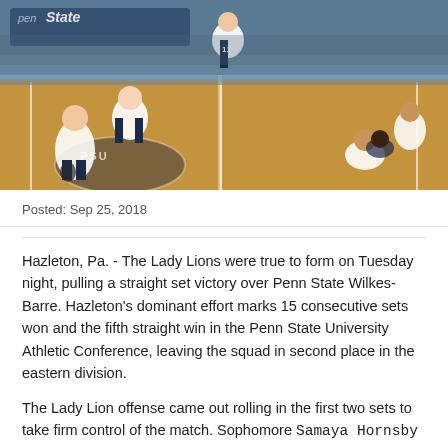[Figure (photo): Volleyball match photo showing Penn State Hazleton Lady Lions players on court during a game, with the Penn State logo visible in the background. Players in white and navy uniforms are jumping and positioned around the court.]
Posted: Sep 25, 2018
Hazleton, Pa. - The Lady Lions were true to form on Tuesday night, pulling a straight set victory over Penn State Wilkes-Barre. Hazleton's dominant effort marks 15 consecutive sets won and the fifth straight win in the Penn State University Athletic Conference, leaving the squad in second place in the eastern division.
The Lady Lion offense came out rolling in the first two sets to take firm control of the match. Sophomore Samaya Hornsby (Richmond, Ca.) led off the match with an 8-0 run from the service line followed shortly thereafter by a 7-0 run from sophomore Damaris Ayala